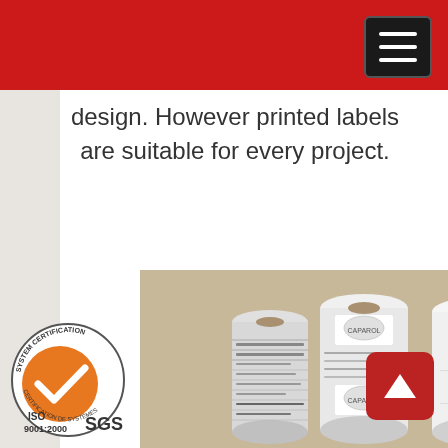design. However printed labels are suitable for every project.
[Figure (photo): Three rolls of printed adhesive labels on a beige background. Left roll has black and white printed text labels, center roll shows Caparol brand labels with elephant logo in color, right roll shows Astra brand labels in red text on white background. An ISO 9001:2000 SGS System Certification badge is visible in the lower-left corner.]